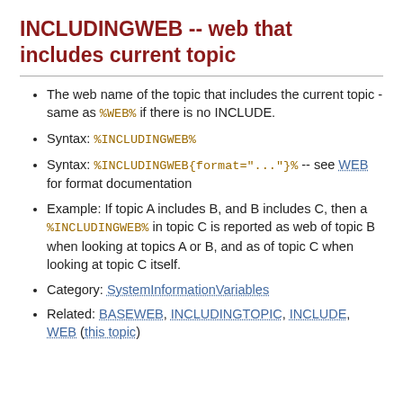INCLUDINGWEB -- web that includes current topic
The web name of the topic that includes the current topic - same as %WEB% if there is no INCLUDE.
Syntax: %INCLUDINGWEB%
Syntax: %INCLUDINGWEB{format="..."}% -- see WEB for format documentation
Example: If topic A includes B, and B includes C, then a %INCLUDINGWEB% in topic C is reported as web of topic B when looking at topics A or B, and as of topic C when looking at topic C itself.
Category: SystemInformationVariables
Related: BASEWEB, INCLUDINGTOPIC, INCLUDE, WEB (this topic)